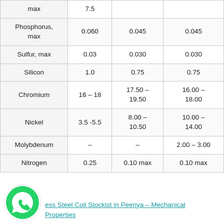| Element | Col1 | Col2 | Col3 |
| --- | --- | --- | --- |
| max | 7.5 |  |  |
| Phosphorus, max | 0.060 | 0.045 | 0.045 |
| Sulfur, max | 0.03 | 0.030 | 0.030 |
| Silicon | 1.0 | 0.75 | 0.75 |
| Chromium | 16 – 18 | 17.50 – 19.50 | 16.00 – 18.00 |
| Nickel | 3.5 -5.5 | 8.00 – 10.50 | 10.00 – 14.00 |
| Molybdenum | – | – | 2.00 – 3.00 |
| Nitrogen | 0.25 | 0.10 max | 0.10 max |
ess Steel Coil Stockist in Peenya – Mechanical Properties